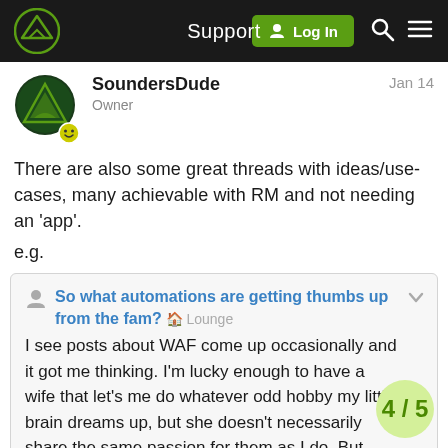Support | Log In
SoundersDude
Owner
Jan 14
There are also some great threads with ideas/use-cases, many achievable with RM and not needing an 'app'.
e.g.
So what automations are getting thumbs up from the fam? 🏠 Lounge

I see posts about WAF come up occasionally and it got me thinking. I'm lucky enough to have a wife that let's me do whatever odd hobby my little brain dreams up, but she doesn't necessarily share the same passion for them as I do. But with hubitat she does loves some of it. Mainly the variable light in the bathroom when it's super dim in the middle of the night. She also likes the t when shes walking a cross the house e